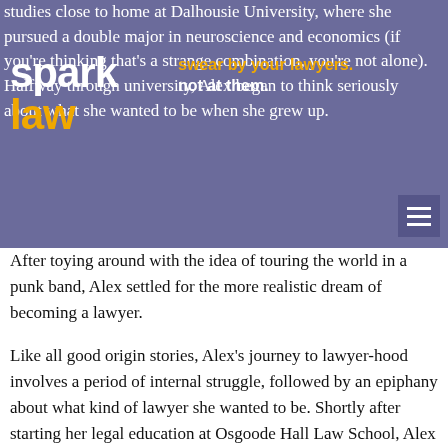studies close to home at Dalhousie University, where she pursued a double major in neuroscience and economics (if you're thinking that's a strange combination, you're not alone). Halfway through university, Alex began to think seriously about what she wanted to be when she grew up.
[Figure (logo): Spark Law logo with tagline 'swear by your lawyers. not at them.']
After toying around with the idea of touring the world in a punk band, Alex settled for the more realistic dream of becoming a lawyer.
Like all good origin stories, Alex's journey to lawyer-hood involves a period of internal struggle, followed by an epiphany about what kind of lawyer she wanted to be. Shortly after starting her legal education at Osgoode Hall Law School, Alex found herself interested in too many things: business, policy-making, litigation, intellectual property, you name it. She immersed herself in these interest by participating in an assortment of activities, including legal clinics, the Intellectual Property and Technology Intensive Program (where she interned at the CBC), and a handful of